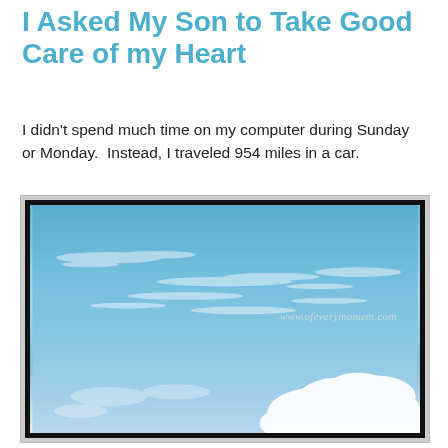I Asked My Son to Take Good Care of my Heart
I didn't spend much time on my computer during Sunday or Monday.  Instead, I traveled 954 miles in a car.
[Figure (photo): Photograph of a blue sky with wispy clouds and a large cumulus cloud formation at the bottom right. Watermark reads: www.ofeverymoment.com]